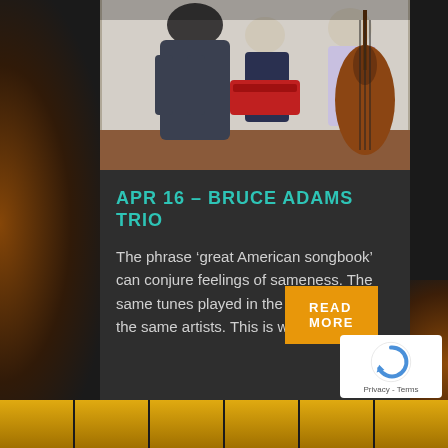[Figure (photo): Three musicians performing: one in a dark coat (foreground left), one seated at a keyboard (center), and one standing with a double bass (right), in what appears to be a venue with patterned carpet.]
APR 16 – BRUCE ADAMS TRIO
The phrase ‘great American songbook’ can conjure feelings of sameness. The same tunes played in the same way by the same artists. This is where…
READ MORE